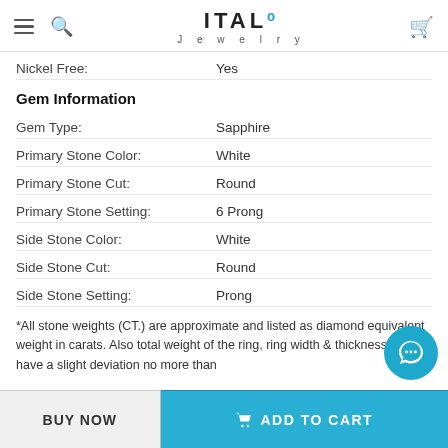ITALO Jewelry
Nickel Free: Yes
Gem Information
Gem Type: Sapphire
Primary Stone Color: White
Primary Stone Cut: Round
Primary Stone Setting: 6 Prong
Side Stone Color: White
Side Stone Cut: Round
Side Stone Setting: Prong
*All stone weights (CT.) are approximate and listed as diamond equivalent weight in carats. Also total weight of the ring, ring width & thickness may have a slight deviation no more than